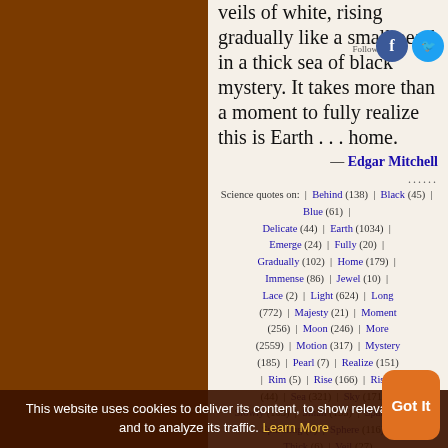veils of white, rising gradually like a small pearl in a thick sea of black mystery. It takes more than a moment to fully realize this is Earth . . . home.
— Edgar Mitchell
Science quotes on: | Behind (138) | Black (45) | Blue (61) | Delicate (44) | Earth (1034) | Emerge (24) | Fully (20) | Gradually (102) | Home (179) | Immense (86) | Jewel (10) | Lace (2) | Light (624) | Long (772) | Majesty (21) | Moment (256) | Moon (246) | More (2559) | Motion (317) | Mystery (185) | Pearl (7) | Realize (151) | Rim (5) | Rise (166) | Rising (44) | Sea (321) | Sky (171) | Slowly (103) | Small (155) | Sparkle (8) | Sparkling (7) | Sphere (116) | Thick (6) | Veil (27) | White (129)
This website uses cookies to deliver its content, to show relevant ads and to analyze its traffic. Learn More